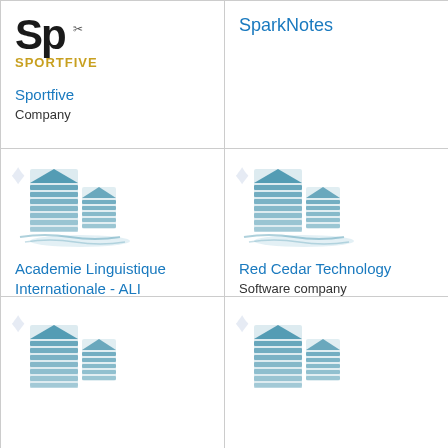[Figure (logo): Sportfive logo - black letters SP and gold SPORTFIVE text]
Sportfive
Company
SparkNotes
[Figure (logo): Generic company building illustration icon in teal/blue]
Academie Linguistique Internationale - ALI
[Figure (logo): Generic company building illustration icon in teal/blue]
Red Cedar Technology
Software company
[Figure (logo): Generic company building illustration icon in teal/blue]
[Figure (logo): Generic company building illustration icon in teal/blue]